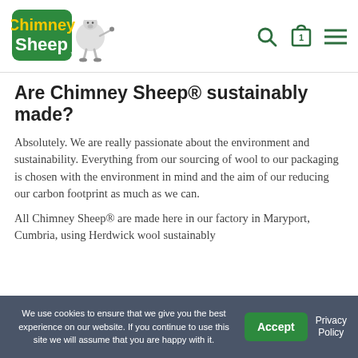[Figure (logo): Chimney Sheep logo with cartoon sheep character and green text]
Are Chimney Sheep® sustainably made?
Absolutely. We are really passionate about the environment and sustainability. Everything from our sourcing of wool to our packaging is chosen with the environment in mind and the aim of our reducing our carbon footprint as much as we can.
All Chimney Sheep® are made here in our factory in Maryport, Cumbria, using Herdwick wool sustainably
We use cookies to ensure that we give you the best experience on our website. If you continue to use this site we will assume that you are happy with it.